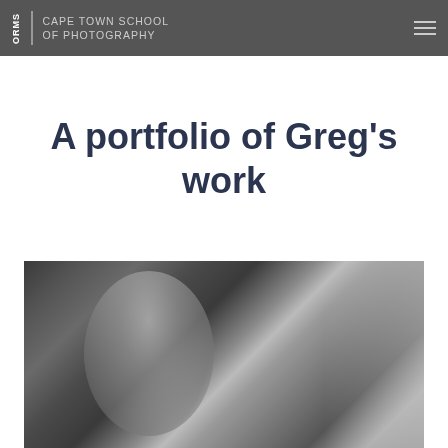ORMS | CAPE TOWN SCHOOL OF PHOTOGRAPHY
A portfolio of Greg's work
[Figure (photo): Black and white photograph showing a woman with blonde hair looking downward, seated, with dramatic studio lighting. The image is cropped at the bottom of the page.]